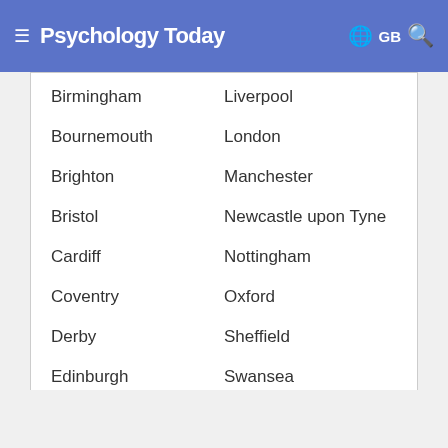Psychology Today — GB
Birmingham
Liverpool
Bournemouth
London
Brighton
Manchester
Bristol
Newcastle upon Tyne
Cardiff
Nottingham
Coventry
Oxford
Derby
Sheffield
Edinburgh
Swansea
Glasgow
Are you a Counsellor? Get Listed Today